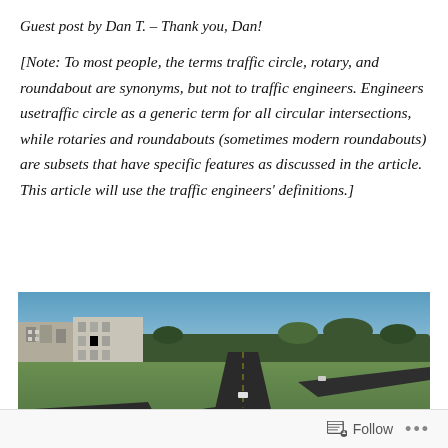Guest post by Dan T. – Thank you, Dan!
[Note: To most people, the terms traffic circle, rotary, and roundabout are synonyms, but not to traffic engineers. Engineers use traffic circle as a generic term for all circular intersections, while rotaries and roundabouts (sometimes modern roundabouts) are subsets that have specific features as discussed in the article. This article will use the traffic engineers' definitions.]
[Figure (photo): Aerial view of a roundabout intersection with roads, green landscaping, buildings on the left side, trees in the background, and a clear sky.]
Follow ...